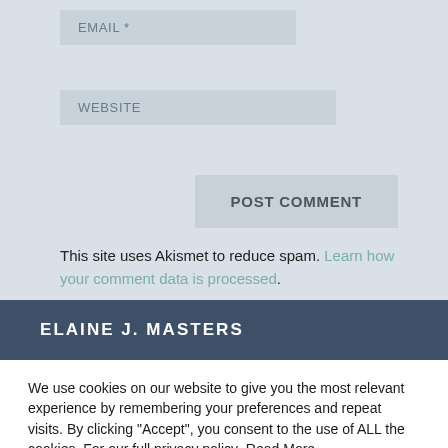EMAIL *
WEBSITE
POST COMMENT
This site uses Akismet to reduce spam. Learn how your comment data is processed.
ELAINE J. MASTERS
We use cookies on our website to give you the most relevant experience by remembering your preferences and repeat visits. By clicking “Accept”, you consent to the use of ALL the cookies. For our full privacy policy  Read More
Cookie settings
ACCEPT